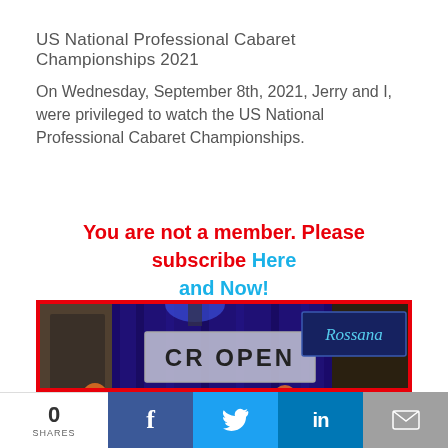US National Professional Cabaret Championships 2021
On Wednesday, September 8th, 2021, Jerry and I, were privileged to watch the US National Professional Cabaret Championships.
You are not a member. Please subscribe Here and Now!
[Figure (photo): Photo of a dance championship event stage with 'CR OPEN' banner and 'Rossana' sign, audience in orange attire visible in foreground, blue curtain and lighting on stage.]
0 SHARES | Facebook | Twitter | LinkedIn | Email